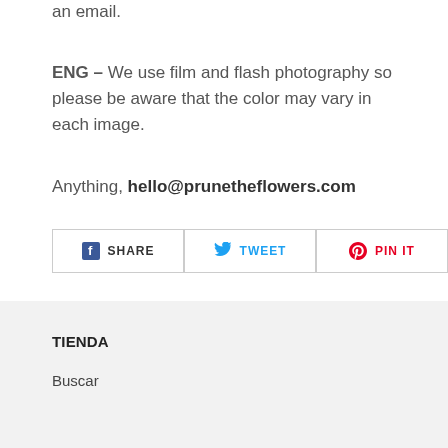an email.
ENG – We use film and flash photography so please be aware that the color may vary in each image.
Anything, hello@prunetheflowers.com
[Figure (other): Social sharing buttons: SHARE (Facebook), TWEET (Twitter), PIN IT (Pinterest)]
TIENDA
Buscar